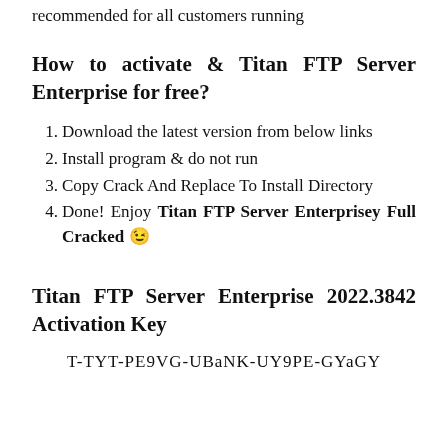recommended for all customers running
How to activate & Titan FTP Server Enterprise for free?
Download the latest version from below links
Install program & do not run
Copy Crack And Replace To Install Directory
Done! Enjoy Titan FTP Server Enterprisey Full Cracked 😉
Titan FTP Server Enterprise 2022.3842 Activation Key
T-TYT-PE9VG-UBaNK-UY9PE-GYaGY